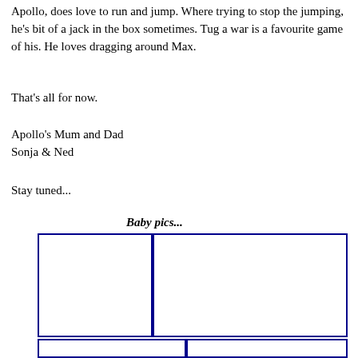Apollo, does love to run and jump. Where trying to stop the jumping, he's bit of a jack in the box sometimes. Tug a war is a favourite game of his. He loves dragging around Max.
That's all for now.
Apollo's Mum and Dad
Sonja & Ned
Stay tuned...
Baby pics...
[Figure (photo): Two empty photo placeholder boxes side by side (top row), and two more partially visible below (bottom row), all with dark blue borders forming a baby photo collage layout.]